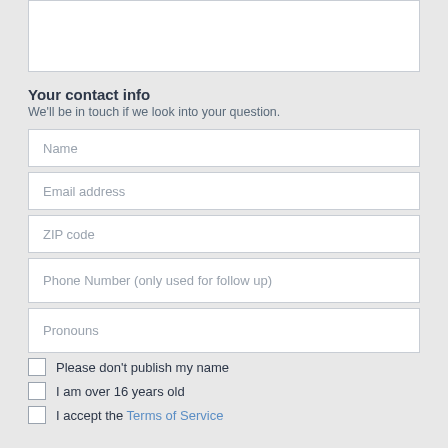[textarea top - partially visible]
Your contact info
We'll be in touch if we look into your question.
Name
Email address
ZIP code
Phone Number (only used for follow up)
Pronouns
Please don't publish my name
I am over 16 years old
I accept the Terms of Service